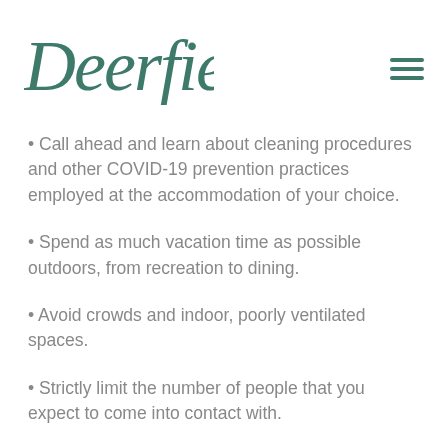[Figure (logo): Deerfield cursive/script logo in teal/dark green color]
Call ahead and learn about cleaning procedures and other COVID-19 prevention practices employed at the accommodation of your choice.
Spend as much vacation time as possible outdoors, from recreation to dining.
Avoid crowds and indoor, poorly ventilated spaces.
Strictly limit the number of people that you expect to come into contact with.